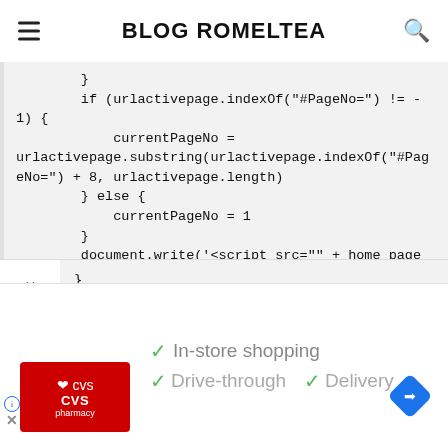BLOG ROMELTEA
}
    if (urlactivepage.indexOf("#PageNo=") != -1) {
        currentPageNo =
urlactivepage.substring(urlactivepage.indexOf("#PageNo=") + 8, urlactivepage.length)
    } else {
        currentPageNo = 1
    }
    document.write('<script src="' + home_page
+ 'feeds/posts/summary/-/' + postLabel + '?alt=json-in-script&callback=totalcountdata&max-results=1" ><\/script>')
    }
[Figure (screenshot): Advertisement bar with CVS Pharmacy logo, checkmarks for In-store shopping, Drive-through, and Delivery, and a navigation icon]